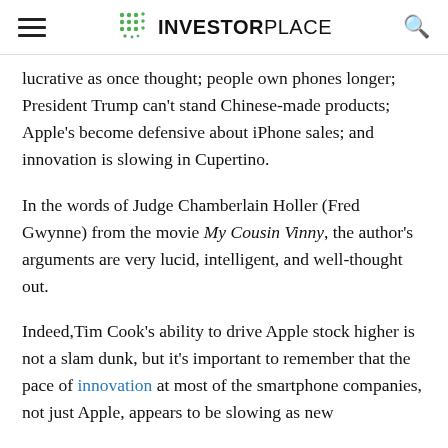INVESTORPLACE
lucrative as once thought; people own phones longer; President Trump can't stand Chinese-made products; Apple's become defensive about iPhone sales; and innovation is slowing in Cupertino.
In the words of Judge Chamberlain Holler (Fred Gwynne) from the movie My Cousin Vinny, the author's arguments are very lucid, intelligent, and well-thought out.
Indeed,Tim Cook's ability to drive Apple stock higher is not a slam dunk, but it's important to remember that the pace of innovation at most of the smartphone companies, not just Apple, appears to be slowing as new